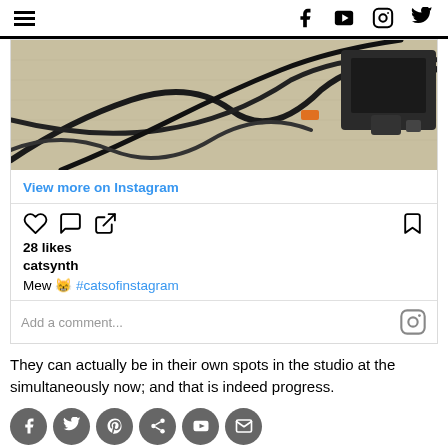hamburger menu | f | youtube | instagram | twitter
[Figure (photo): Photo of tangled black cables/wires on a light-colored carpet or rug surface, with electronic equipment visible on the right side]
View more on Instagram
[Figure (infographic): Instagram post interaction icons: heart (like), comment bubble, share arrow on left; bookmark icon on right]
28 likes
catsynth
Mew 😸 #catsofinstagram
Add a comment...
They can actually be in their own spots in the studio at the simultaneously now; and that is indeed progress.
[Figure (infographic): Row of social media share icon buttons: Facebook, Twitter, Pinterest, another icon, YouTube, and one more — all in circular dark grey buttons]